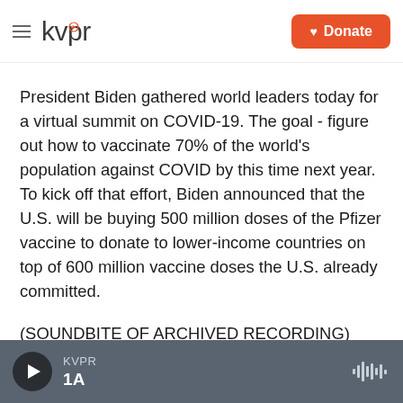kvpr | Donate
President Biden gathered world leaders today for a virtual summit on COVID-19. The goal - figure out how to vaccinate 70% of the world's population against COVID by this time next year. To kick off that effort, Biden announced that the U.S. will be buying 500 million doses of the Pfizer vaccine to donate to lower-income countries on top of 600 million vaccine doses the U.S. already committed.
(SOUNDBITE OF ARCHIVED RECORDING)
PRESIDENT JOE BIDEN: To beat the pandemic
KVPR | 1A